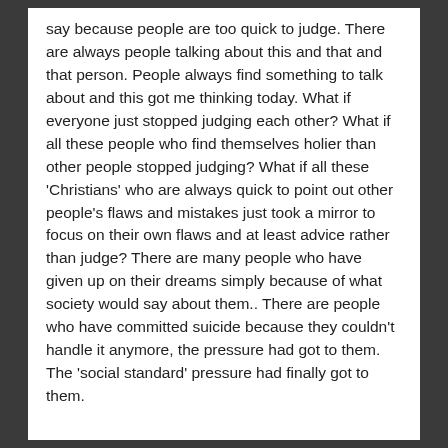say because people are too quick to judge. There are always people talking about this and that and that person. People always find something to talk about and this got me thinking today. What if everyone just stopped judging each other? What if all these people who find themselves holier than other people stopped judging? What if all these 'Christians' who are always quick to point out other people's flaws and mistakes just took a mirror to focus on their own flaws and at least advice rather than judge? There are many people who have given up on their dreams simply because of what society would say about them.. There are people who have committed suicide because they couldn't handle it anymore, the pressure had got to them. The 'social standard' pressure had finally got to them.